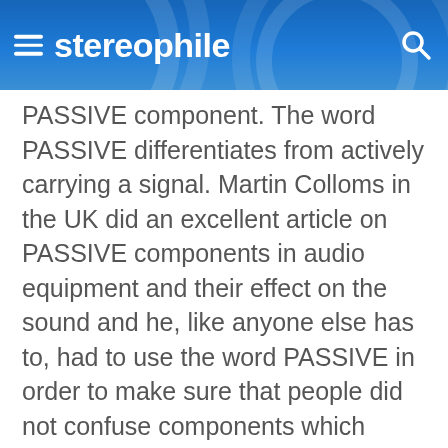stereophile
PASSIVE component. The word PASSIVE differentiates from actively carrying a signal. Martin Colloms in the UK did an excellent article on PASSIVE components in audio equipment and their effect on the sound and he, like anyone else has to, had to use the word PASSIVE in order to make sure that people did not confuse components which carry the signal with components which are PASSIVE...